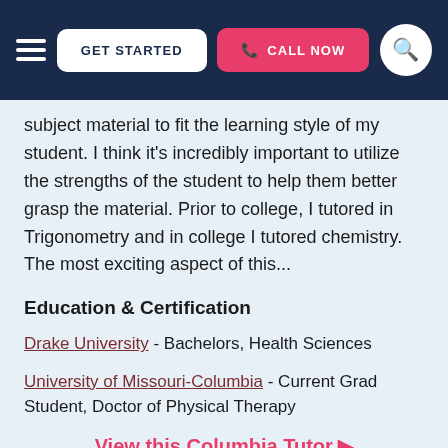GET STARTED | CALL NOW
subject material to fit the learning style of my student. I think it's incredibly important to utilize the strengths of the student to help them better grasp the material. Prior to college, I tutored in Trigonometry and in college I tutored chemistry. The most exciting aspect of this...
Education & Certification
Drake University - Bachelors, Health Sciences
University of Missouri-Columbia - Current Grad Student, Doctor of Physical Therapy
View this Columbia Tutor ▶